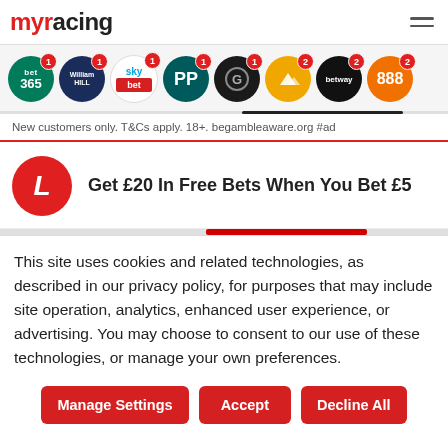myracing
[Figure (illustration): Row of bookmaker logo icons (bet365, William Hill, Sky Bet, Paddy Power, GCasino, Betfair, Betway, 888) each with numbered red badge overlays]
New customers only. T&Cs apply. 18+. begambleaware.org #ad
Get £20 In Free Bets When You Bet £5
This site uses cookies and related technologies, as described in our privacy policy, for purposes that may include site operation, analytics, enhanced user experience, or advertising. You may choose to consent to our use of these technologies, or manage your own preferences.
Manage Settings | Accept | Decline All